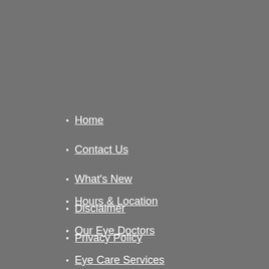Home
Contact Us
What's New
Disclaimer
Privacy Policy
Hours & Location
Our Eye Doctors
Eye Care Services
Eyeglasses & Contacts
Low Vision Clinic